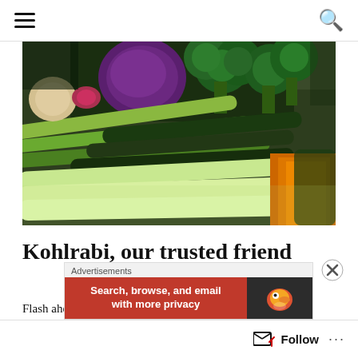≡  🔍
[Figure (photo): Close-up photo of assorted fresh vegetables including broccoli, purple cabbage, green onions/leeks, zucchini, cucumbers, carrots and other produce arranged together]
Kohlrabi, our trusted friend
Flash ahead a few years, and especially this year
[Figure (screenshot): Advertisement banner: 'Advertisements' label above a red section reading 'Search, browse, and email with more privacy' next to a dark section with DuckDuckGo duck logo]
Follow  ...